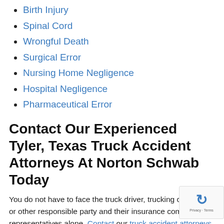Birth Injury
Spinal Cord
Wrongful Death
Surgical Error
Nursing Home Negligence
Hospital Negligence
Pharmaceutical Error
Contact Our Experienced Tyler, Texas Truck Accident Attorneys At Norton Schwab Today
You do not have to face the truck driver, trucking company, or other responsible party and their insurance company representatives alone. Contact our truck accident attorneys in Tyler, Texas at Norton Schwab today at 888-633-6257 to schedule a free consultation and learn how we can provide the best financial outcome for your unique accident and injuries. If you have lost a loved one in a Tyler, Texas truck accident, our wrongful death attorneys would like to review your